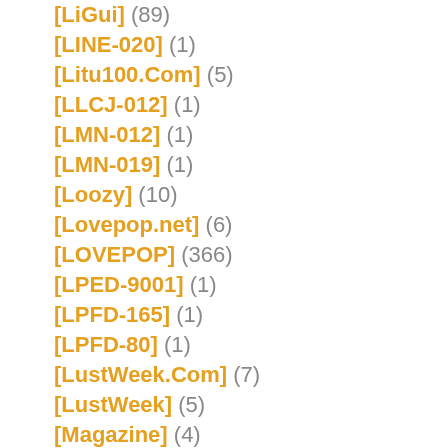[LiGui] (89)
[LINE-020] (1)
[Litu100.Com] (5)
[LLCJ-012] (1)
[LMN-012] (1)
[LMN-019] (1)
[Loozy] (10)
[Lovepop.net] (6)
[LOVEPOP] (366)
[LPED-9001] (1)
[LPFD-165] (1)
[LPFD-80] (1)
[LustWeek.Com] (7)
[LustWeek] (5)
[Magazine] (4)